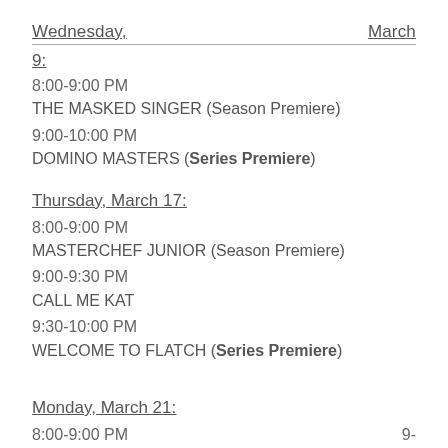Wednesday,    March
9:
8:00-9:00 PM
THE MASKED SINGER (Season Premiere)
9:00-10:00 PM
DOMINO MASTERS (Series Premiere)
Thursday, March 17:
8:00-9:00 PM
MASTERCHEF JUNIOR (Season Premiere)
9:00-9:30 PM
CALL ME KAT
9:30-10:00 PM
WELCOME TO FLATCH (Series Premiere)
Monday, March 21:
8:00-9:00 PM    9-